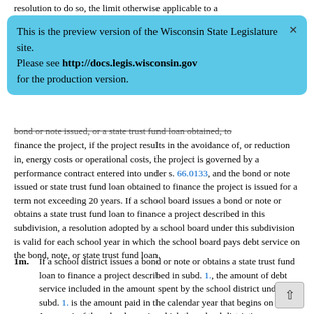resolution to do so, the limit otherwise applicable to a
[Figure (screenshot): Blue preview banner: 'This is the preview version of the Wisconsin State Legislature site. Please see http://docs.legis.wisconsin.gov for the production version.' with a close X button.]
bond or note issued, or a state trust fund loan obtained, to finance the project, if the project results in the avoidance of, or reduction in, energy costs or operational costs, the project is governed by a performance contract entered into under s. 66.0133, and the bond or note issued or state trust fund loan obtained to finance the project is issued for a term not exceeding 20 years. If a school board issues a bond or note or obtains a state trust fund loan to finance a project described in this subdivision, a resolution adopted by a school board under this subdivision is valid for each school year in which the school board pays debt service on the bond, note, or state trust fund loan.
1m. If a school district issues a bond or note or obtains a state trust fund loan to finance a project described in subd. 1., the amount of debt service included in the amount spent by the school district under subd. 1. is the amount paid in the calendar year that begins on January 1 of the school year in which the school district's revenue limit is increased under this paragraph.